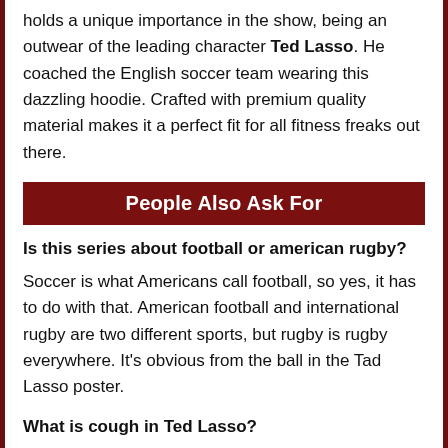holds a unique importance in the show, being an outwear of the leading character Ted Lasso. He coached the English soccer team wearing this dazzling hoodie. Crafted with premium quality material makes it a perfect fit for all fitness freaks out there.
People Also Ask For
Is this series about football or american rugby?
Soccer is what Americans call football, so yes, it has to do with that. American football and international rugby are two different sports, but rugby is rugby everywhere. It's obvious from the ball in the Tad Lasso poster.
What is cough in Ted Lasso?